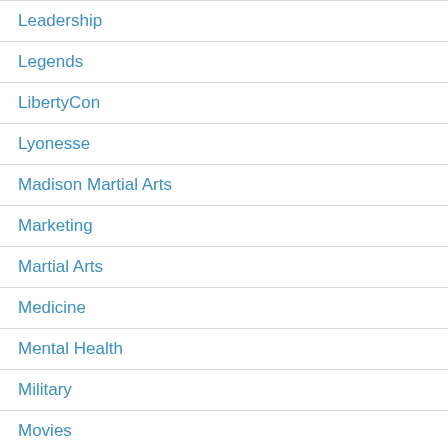Leadership
Legends
LibertyCon
Lyonesse
Madison Martial Arts
Marketing
Martial Arts
Medicine
Mental Health
Military
Movies
Music